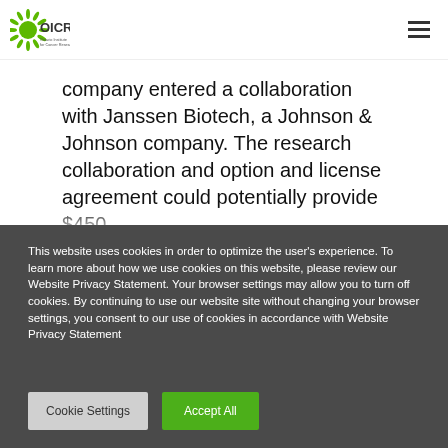[Figure (logo): OICR Ontario Institute for Cancer Research logo with green sunburst/spiky circular icon]
company entered a collaboration with Janssen Biotech, a Johnson & Johnson company. The research collaboration and option and license agreement could potentially provide $450 [million...]
This website uses cookies in order to optimize the user's experience. To learn more about how we use cookies on this website, please review our Website Privacy Statement. Your browser settings may allow you to turn off cookies. By continuing to use our website site without changing your browser settings, you consent to our use of cookies in accordance with Website Privacy Statement
Cookie Settings
Accept All